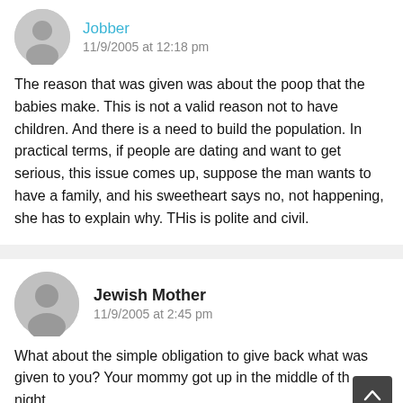Jobber
11/9/2005 at 12:18 pm
The reason that was given was about the poop that the babies make. This is not a valid reason not to have children. And there is a need to build the population. In practical terms, if people are dating and want to get serious, this issue comes up, suppose the man wants to have a family, and his sweetheart says no, not happening, she has to explain why. THis is polite and civil.
Jewish Mother
11/9/2005 at 2:45 pm
What about the simple obligation to give back what was given to you? Your mommy got up in the middle of the night.